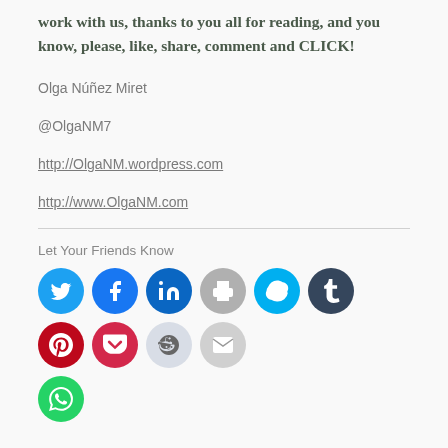work with us, thanks to you all for reading, and you know, please, like, share, comment and CLICK!
Olga Núñez Miret
@OlgaNM7
http://OlgaNM.wordpress.com
http://www.OlgaNM.com
Let Your Friends Know
[Figure (infographic): Row of social media sharing icon buttons: Twitter (blue), Facebook (blue), LinkedIn (dark blue), Print (gray), Skype (cyan), Tumblr (dark navy), Pinterest (dark red), Pocket (pink-red), Reddit (light gray), Email (gray), and WhatsApp (green) in circular buttons.]